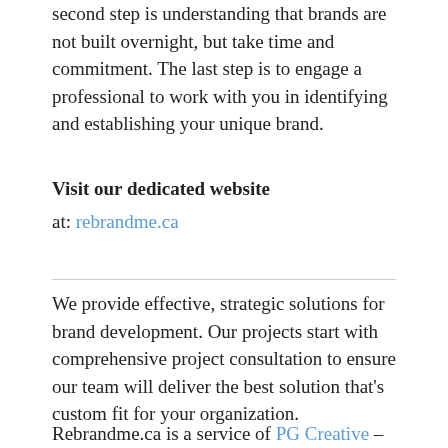second step is understanding that brands are not built overnight, but take time and commitment. The last step is to engage a professional to work with you in identifying and establishing your unique brand.
Visit our dedicated website
at: rebrandme.ca
We provide effective, strategic solutions for brand development. Our projects start with comprehensive project consultation to ensure our team will deliver the best solution that's custom fit for your organization.
Rebrandme.ca is a service of PG Creative –